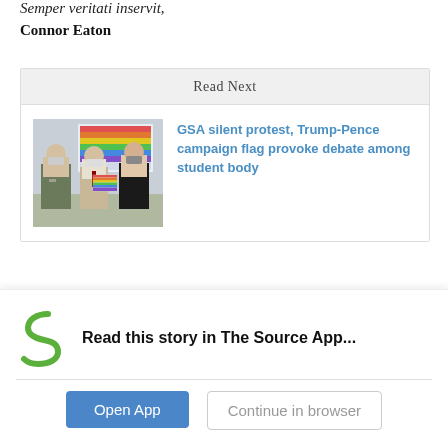Semper veritati inservit,
Connor Eaton
Read Next
[Figure (photo): Three students standing in a classroom wearing masks, with a rainbow-colored display visible in the background on a screen.]
GSA silent protest, Trump-Pence campaign flag provoke debate among student body
Leave a Comment
[Figure (logo): Student News Source logo - green S shape with 'STUDENT NEWS SOURCE' text below]
Read this story in The Source App...
Open App
Continue in browser